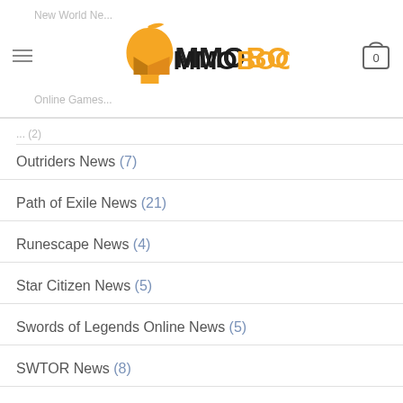MMOBOOST.PRO
Outriders News (7)
Path of Exile News (21)
Runescape News (4)
Star Citizen News (5)
Swords of Legends Online News (5)
SWTOR News (8)
Warframe News (6)
World of Warcraft News (90)